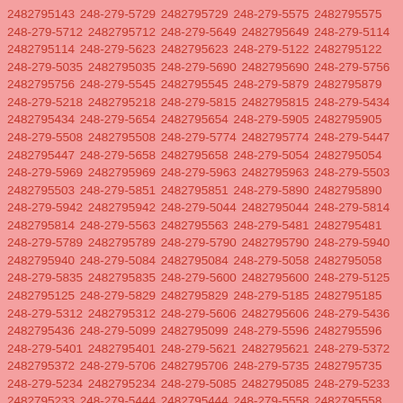2482795143 248-279-5729 2482795729 248-279-5575 2482795575 248-279-5712 2482795712 248-279-5649 2482795649 248-279-5114 2482795114 248-279-5623 2482795623 248-279-5122 2482795122 248-279-5035 2482795035 248-279-5690 2482795690 248-279-5756 2482795756 248-279-5545 2482795545 248-279-5879 2482795879 248-279-5218 2482795218 248-279-5815 2482795815 248-279-5434 2482795434 248-279-5654 2482795654 248-279-5905 2482795905 248-279-5508 2482795508 248-279-5774 2482795774 248-279-5447 2482795447 248-279-5658 2482795658 248-279-5054 2482795054 248-279-5969 2482795969 248-279-5963 2482795963 248-279-5503 2482795503 248-279-5851 2482795851 248-279-5890 2482795890 248-279-5942 2482795942 248-279-5044 2482795044 248-279-5814 2482795814 248-279-5563 2482795563 248-279-5481 2482795481 248-279-5789 2482795789 248-279-5790 2482795790 248-279-5940 2482795940 248-279-5084 2482795084 248-279-5058 2482795058 248-279-5835 2482795835 248-279-5600 2482795600 248-279-5125 2482795125 248-279-5829 2482795829 248-279-5185 2482795185 248-279-5312 2482795312 248-279-5606 2482795606 248-279-5436 2482795436 248-279-5099 2482795099 248-279-5596 2482795596 248-279-5401 2482795401 248-279-5621 2482795621 248-279-5372 2482795372 248-279-5706 2482795706 248-279-5735 2482795735 248-279-5234 2482795234 248-279-5085 2482795085 248-279-5233 2482795233 248-279-5444 2482795444 248-279-5558 2482795558 248-279-5801 2482795801 248-279-5740 2482795740 248-279-5800 2482795800 248-279-5428 2482795428 248-279-5371 2482795371 248-279-5947